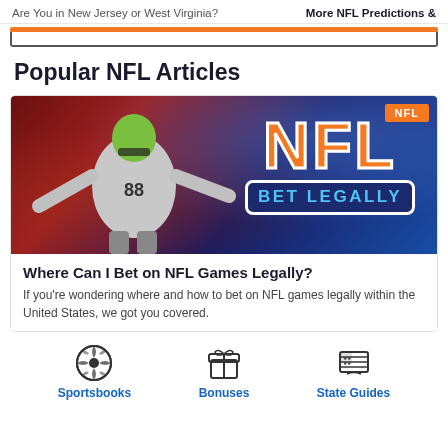Are You in New Jersey or West Virginia?   More NFL Predictions &
Popular NFL Articles
[Figure (photo): NFL themed image with a football player wearing a green helmet with arms outstretched, set against a stadium backdrop with dramatic lighting. Large orange 'NFL' text and a dark blue badge reading 'BET LEGALLY'. Orange 'NFL' badge top right corner.]
Where Can I Bet on NFL Games Legally?
If you're wondering where and how to bet on NFL games legally within the United States, we got you covered.
[Figure (illustration): Three navigation icons: Sportsbooks (soccer ball icon), Bonuses (gift box icon), State Guides (US flag/map icon)]